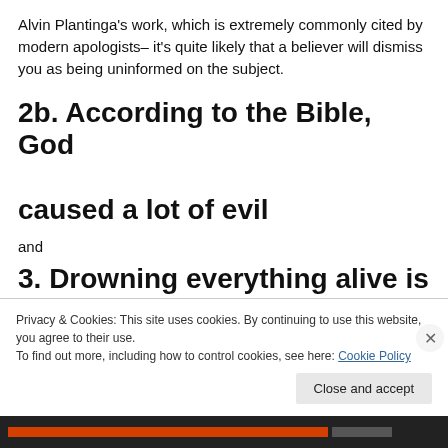Alvin Plantinga's work, which is extremely commonly cited by modern apologists– it's quite likely that a believer will dismiss you as being uninformed on the subject.
2b. According to the Bible, God caused a lot of evil
and
3. Drowning everything alive is not a
Privacy & Cookies: This site uses cookies. By continuing to use this website, you agree to their use.
To find out more, including how to control cookies, see here: Cookie Policy
Close and accept